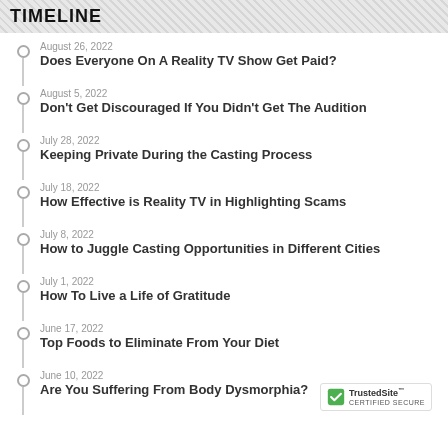TIMELINE
August 26, 2022 — Does Everyone On A Reality TV Show Get Paid?
August 5, 2022 — Don't Get Discouraged If You Didn't Get The Audition
July 28, 2022 — Keeping Private During the Casting Process
July 18, 2022 — How Effective is Reality TV in Highlighting Scams
July 8, 2022 — How to Juggle Casting Opportunities in Different Cities
July 1, 2022 — How To Live a Life of Gratitude
June 17, 2022 — Top Foods to Eliminate From Your Diet
June 10, 2022 — Are You Suffering From Body Dysmorphia?